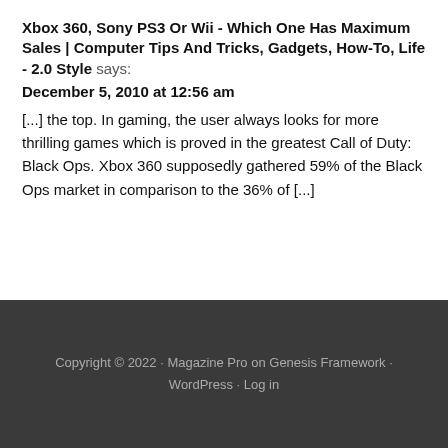Xbox 360, Sony PS3 Or Wii - Which One Has Maximum Sales | Computer Tips And Tricks, Gadgets, How-To, Life - 2.0 Style says:
December 5, 2010 at 12:56 am
[...] the top. In gaming, the user always looks for more thrilling games which is proved in the greatest Call of Duty: Black Ops. Xbox 360 supposedly gathered 59% of the Black Ops market in comparison to the 36% of [...]
Copyright © 2022 · Magazine Pro on Genesis Framework · WordPress · Log in